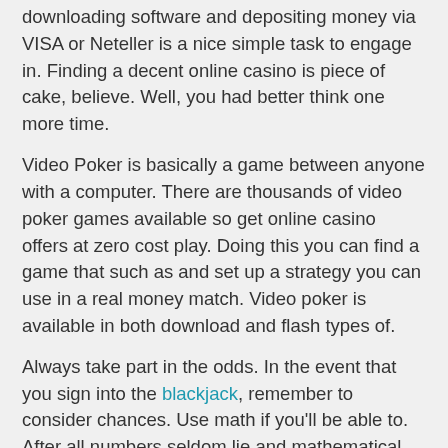downloading software and depositing money via VISA or Neteller is a nice simple task to engage in. Finding a decent online casino is piece of cake, believe. Well, you had better think one more time.
Video Poker is basically a game between anyone with a computer. There are thousands of video poker games available so get online casino offers at zero cost play. Doing this you can find a game that such as and set up a strategy you can use in a real money match. Video poker is available in both download and flash types of.
Always take part in the odds. In the event that you sign into the blackjack, remember to consider chances. Use math if you'll be able to. After all numbers seldom lie and mathematical strategies are generally successful. Well-liked more the case with casino and internet-based games of risk which are fashioned on the cornerstone of probabilities and percentages.